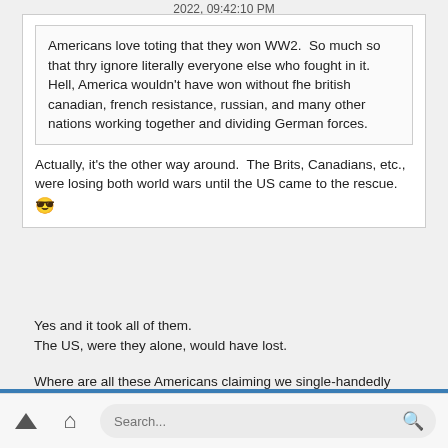2022, 09:42:10 PM
Americans love toting that they won WW2.  So much so that thry ignore literally everyone else who fought in it.  Hell, America wouldn't have won without fhe british canadian, french resistance, russian, and many other nations working together and dividing German forces.
Actually, it's the other way around.  The Brits, Canadians, etc., were losing both world wars until the US came to the rescue. 😎
Yes and it took all of them.
The US, were they alone, would have lost.
Where are all these Americans claiming we single-handedly won WWII? I'm honestly not sure they exist. Everybody learned about the Axis and Allied Powers in school. Stop trying to make us look bad. Dave